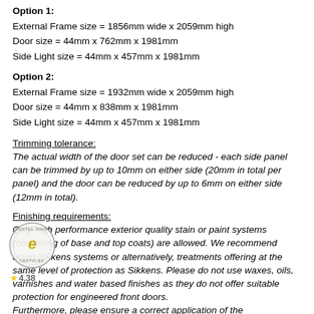Option 1:
External Frame size = 1856mm wide x 2059mm high
Door size = 44mm x 762mm x 1981mm
Side Light size = 44mm x 457mm x 1981mm
Option 2:
External Frame size = 1932mm wide x 2059mm high
Door size = 44mm x 838mm x 1981mm
Side Light size = 44mm x 457mm x 1981mm
Trimming tolerance:
The actual width of the door set can be reduced - each side panel can be trimmed by up to 10mm on either side (20mm in total per panel) and the door can be reduced by up to 6mm on either side (12mm in total).
Finishing requirements:
Only high performance exterior quality stain or paint systems (consisting of base and top coats) are allowed. We recommend using Sikkens systems or alternatively, treatments offering at the same level of protection as Sikkens. Please do not use waxes, oils, varnishes and water based finishes as they do not offer suitable protection for engineered front doors. Furthermore, please ensure a correct application of the